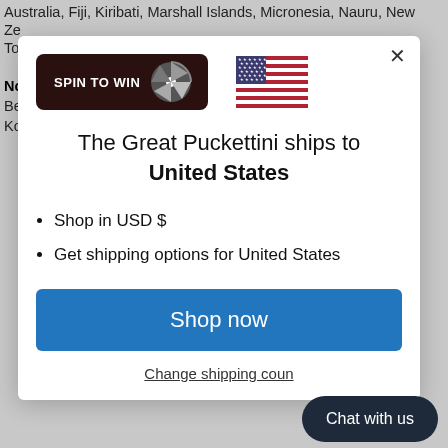Australia, Fiji, Kiribati, Marshall Islands, Micronesia, Nauru, New Ze To
NO Be Ko
[Figure (screenshot): Modal dialog showing 'The Great Puckettini ships to United States' with a Spin to Win button, US flag, bullet points, Shop now button, and Change shipping country link]
The Great Puckettini ships to United States
Shop in USD $
Get shipping options for United States
Shop now
Change shipping country
Chat with us